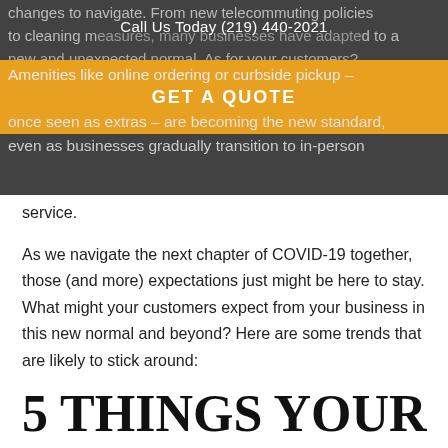Call Us Today (219) 440-2021
changes to navigate. From new telecommuting policies to cleaning measures, many businesses have adapted to a new and unexpected normal. As for your customers? Amenities like online ordering or curbside pickup – once seen as extras – are becoming the new standard, even as businesses gradually transition to in-person service.
GET A QUOTE
service.
As we navigate the next chapter of COVID-19 together, those (and more) expectations just might be here to stay. What might your customers expect from your business in this new normal and beyond? Here are some trends that are likely to stick around:
5 THINGS YOUR